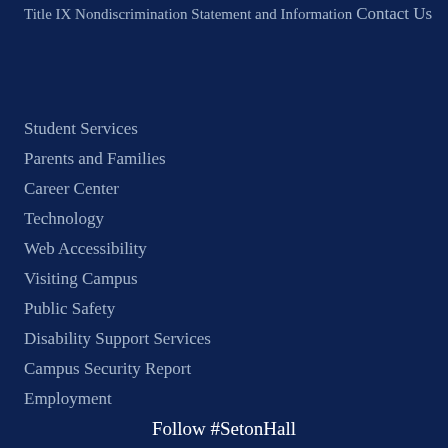Title IX Nondiscrimination Statement and Information
Contact Us
Student Services
Parents and Families
Career Center
Technology
Web Accessibility
Visiting Campus
Public Safety
Disability Support Services
Campus Security Report
Employment
Follow #SetonHall
[Figure (other): Social media icons: Facebook, Twitter, LinkedIn, YouTube, Flickr, Instagram]